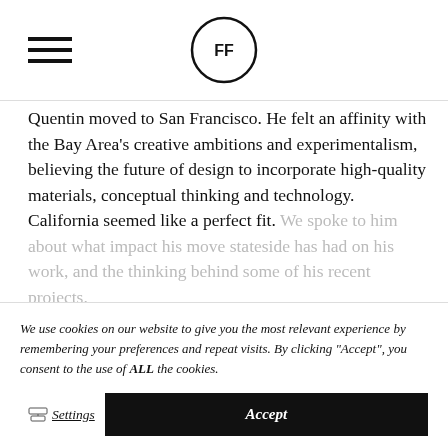FF
Quentin moved to San Francisco. He felt an affinity with the Bay Area's creative ambitions and experimentalism, believing the future of design to incorporate high-quality materials, conceptual thinking and technology. California seemed like a perfect fit. We spoke to him about what impact his move stateside has had on his work, and the thinking behind some of his recent projects.
We use cookies on our website to give you the most relevant experience by remembering your preferences and repeat visits. By clicking “Accept”, you consent to the use of ALL the cookies.